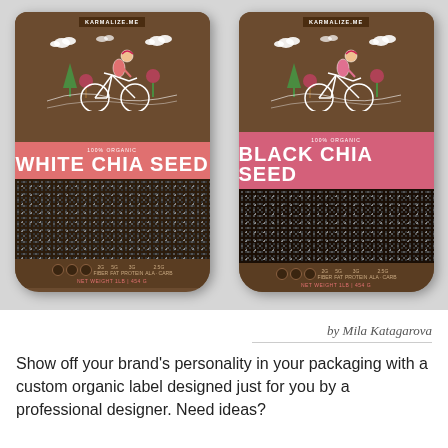[Figure (photo): Two product packages of Karmalize.me chia seeds side by side. Left package is labeled 'WHITE CHIA SEED' with a salmon/red banner and features a cyclist illustration on a brown bag. Right package is labeled 'BLACK CHIA SEED' with a pink/magenta banner and the same cyclist illustration. Both show nutrition info and seeds visible through a window in the packaging.]
by Mila Katagarova
Show off your brand’s personality in your packaging with a custom organic label designed just for you by a professional designer. Need ideas?